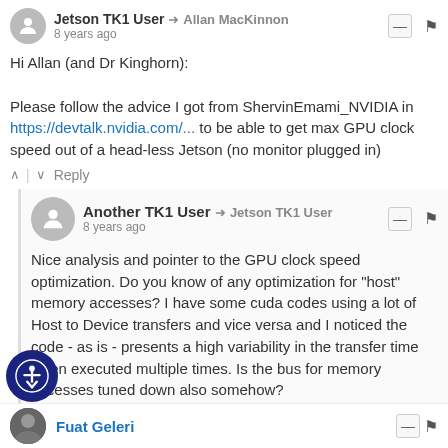Jetson TK1 User → Allan MacKinnon
8 years ago
Hi Allan (and Dr Kinghorn):
Please follow the advice I got from ShervinEmami_NVIDIA in https://devtalk.nvidia.com/... to be able to get max GPU clock speed out of a head-less Jetson (no monitor plugged in)
↑ | ↓ Reply
Another TK1 User → Jetson TK1 User
8 years ago
Nice analysis and pointer to the GPU clock speed optimization. Do you know of any optimization for "host" memory accesses? I have some cuda codes using a lot of Host to Device transfers and vice versa and I noticed the code - as is - presents a high variability in the transfer time when executed multiple times. Is the bus for memory accesses tuned down also somehow?
↑ | ↓ Reply
Fuat Geleri